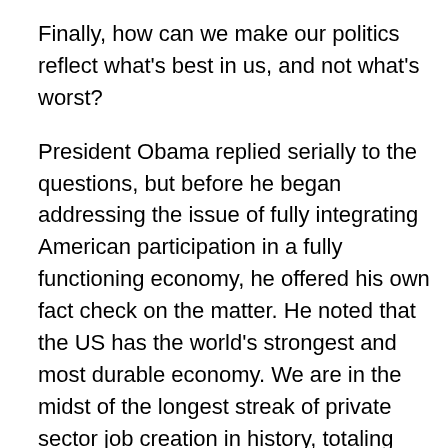Finally, how can we make our politics reflect what's best in us, and not what's worst?
President Obama replied serially to the questions, but before he began addressing the issue of fully integrating American participation in a fully functioning economy, he offered his own fact check on the matter. He noted that the US has the world's strongest and most durable economy. We are in the midst of the longest streak of private sector job creation in history, totaling more than 14 million new jobs. Most recently, we have experienced the strongest two years of job growth since the 90's; an unemployment rate cut in half, an auto industry that just had its best year ever, and the creation of over 900,000 new manufacturing jobs over the past six years. With relish, he injected that we've done all this while cutting our deficits by nearly three quarters.